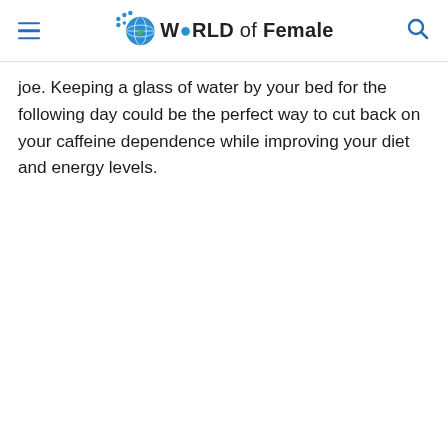W🌐RLD of Female
joe. Keeping a glass of water by your bed for the following day could be the perfect way to cut back on your caffeine dependence while improving your diet and energy levels.